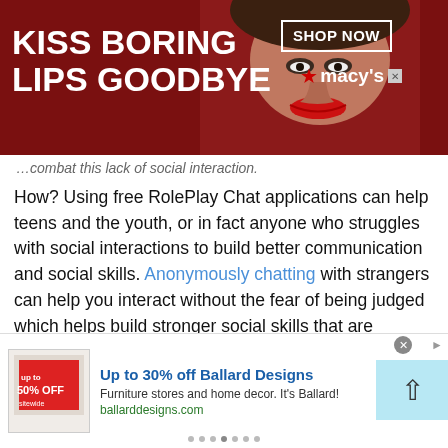[Figure (other): Macy's advertisement banner: 'KISS BORING LIPS GOODBYE' with woman's face and red lips, SHOP NOW button and Macy's logo on dark red background]
…combat this lack of social interaction.
How? Using free RolePlay Chat applications can help teens and the youth, or in fact anyone who struggles with social interactions to build better communication and social skills. Anonymously chatting with strangers can help you interact without the fear of being judged which helps build stronger social skills that are necessary in today's world. This means by interacting on a digital platform, you can actually improve your face-to-face interactions in the real world.
[Figure (other): Ballard Designs advertisement: 'Up to 30% off Ballard Designs', Furniture stores and home decor. It's Ballard! ballarddesigns.com, with blue arrow button]